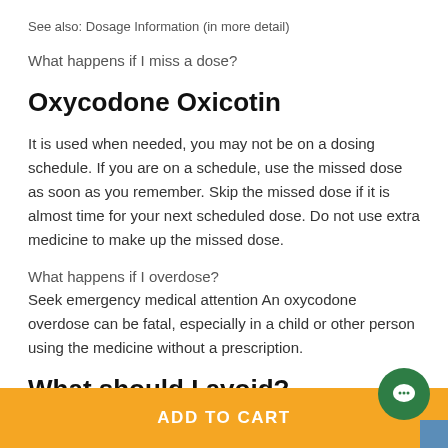See also: Dosage Information (in more detail)
What happens if I miss a dose?
Oxycodone Oxicotin
It is used when needed, you may not be on a dosing schedule. If you are on a schedule, use the missed dose as soon as you remember. Skip the missed dose if it is almost time for your next scheduled dose. Do not use extra medicine to make up the missed dose.
What happens if I overdose?
Seek emergency medical attention An oxycodone overdose can be fatal, especially in a child or other person using the medicine without a prescription.
What should I avoid?
ADD TO CART